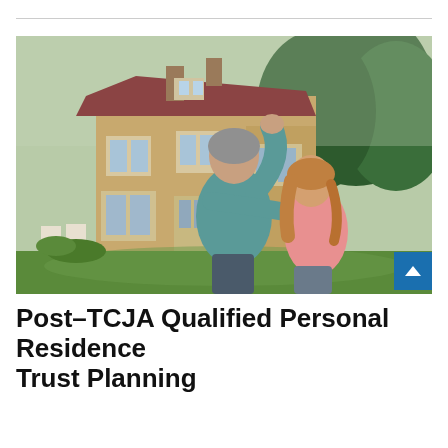[Figure (photo): A middle-aged couple standing in a garden looking at a large traditional brick house. The man, seen from behind with grey hair and a teal shirt, has his arm raised pointing at the house. The woman beside him has blonde/brown hair and wears a pink top. The house is a two-storey stone/brick building with white-framed windows and a red-tiled roof, surrounded by trees and a well-kept lawn.]
Post–TCJA Qualified Personal Residence Trust Planning